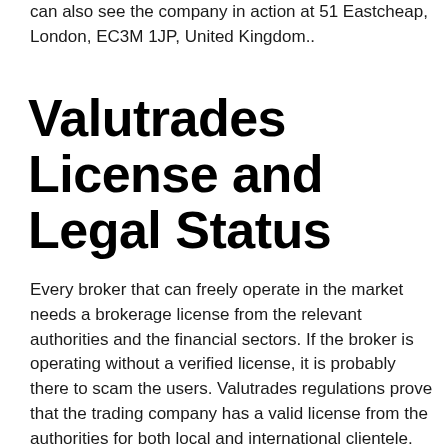can also see the company in action at 51 Eastcheap, London, EC3M 1JP, United Kingdom..
Valutrades License and Legal Status
Every broker that can freely operate in the market needs a brokerage license from the relevant authorities and the financial sectors. If the broker is operating without a verified license, it is probably there to scam the users. Valutrades regulations prove that the trading company has a valid license from the authorities for both local and international clientele. The legality of the broker's license can be verified by using our services and the fund recovery specialists can